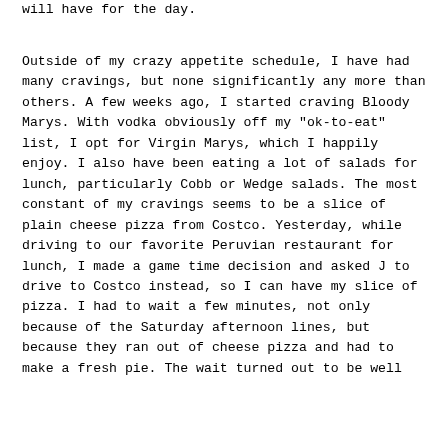will have for the day.
Outside of my crazy appetite schedule, I have had many cravings, but none significantly any more than others. A few weeks ago, I started craving Bloody Marys. With vodka obviously off my "ok-to-eat" list, I opt for Virgin Marys, which I happily enjoy. I also have been eating a lot of salads for lunch, particularly Cobb or Wedge salads. The most constant of my cravings seems to be a slice of plain cheese pizza from Costco. Yesterday, while driving to our favorite Peruvian restaurant for lunch, I made a game time decision and asked J to drive to Costco instead, so I can have my slice of pizza. I had to wait a few minutes, not only because of the Saturday afternoon lines, but because they ran out of cheese pizza and had to make a fresh pie. The wait turned out to be well